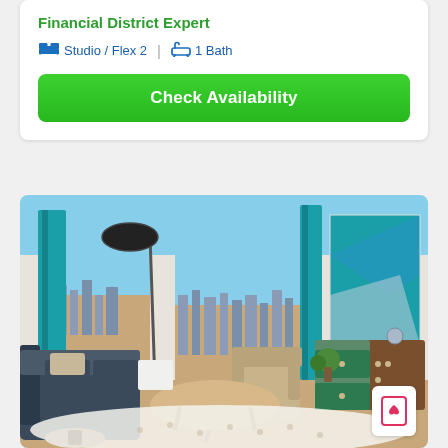Financial District Expert
Studio / Flex 2  |  1 Bath
Check Availability
[Figure (photo): Interior photo of a modern apartment living room with blue/teal curtains, large windows with city views, a sofa, armchair, round coffee table, and a wood dresser with a blue-teal panel art piece above it. A white patterned rug is on the floor.]